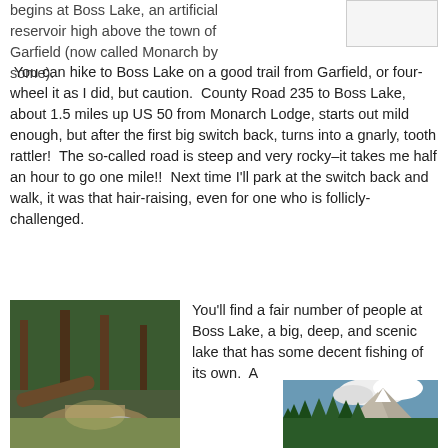begins at Boss Lake, an artificial reservoir high above the town of Garfield (now called Monarch by some).
You can hike to Boss Lake on a good trail from Garfield, or four-wheel it as I did, but caution.  County Road 235 to Boss Lake, about 1.5 miles up US 50 from Monarch Lodge, starts out mild enough, but after the first big switch back, turns into a gnarly, tooth rattler!  The so-called road is steep and very rocky–it takes me half an hour to go one mile!!  Next time I'll park at the switch back and walk, it was that hair-raising, even for one who is follicly-challenged.
[Figure (photo): Forest trail with fallen logs and rocks, dense green trees]
You'll find a fair number of people at Boss Lake, a big, deep, and scenic lake that has some decent fishing of its own.  A
[Figure (photo): Mountain landscape with evergreen trees and white clouds over a peak]